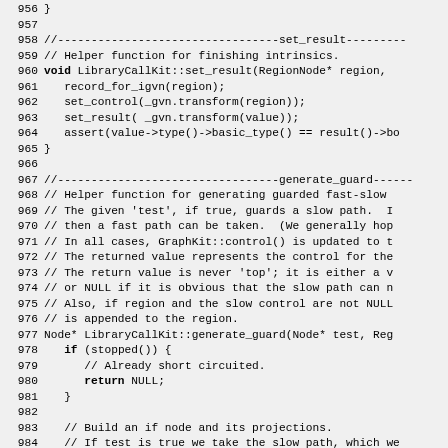Source code listing lines 956-985, C++ LibraryCallKit implementation showing set_result and generate_guard helper functions.